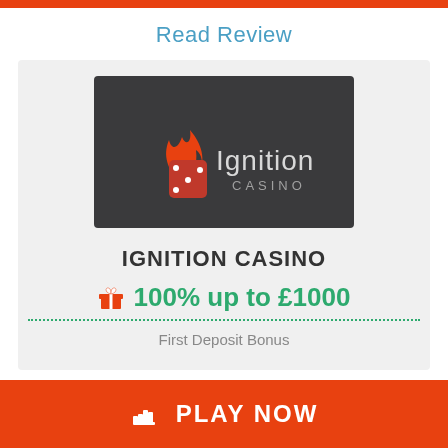Read Review
[Figure (logo): Ignition Casino logo on dark gray background — orange flame and dice icon with 'Ignition CASINO' text in white/gray]
IGNITION CASINO
🎁 100% up to £1000
First Deposit Bonus
🖐 PLAY NOW